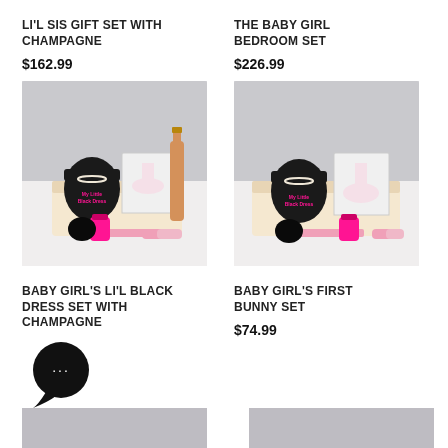LI'L SIS GIFT SET WITH CHAMPAGNE
$162.99
[Figure (photo): Baby girl gift basket with black onesie, pink ballet dress, champagne bottle, pink sippy cup, and pink accessories]
THE BABY GIRL BEDROOM SET
$226.99
[Figure (photo): Baby girl gift basket with black onesie, pink ballet dress, pink sippy cup, and pink accessories]
BABY GIRL'S LI'L BLACK DRESS SET WITH CHAMPAGNE
BABY GIRL'S FIRST BUNNY SET
$74.99
[Figure (photo): Partially visible product image at bottom left]
[Figure (photo): Partially visible product image at bottom right]